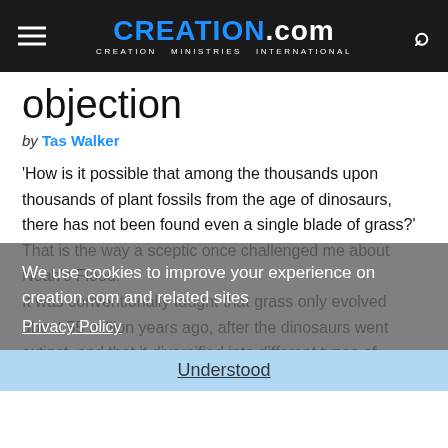CREATION.com — CREATION MINISTRIES INTERNATIONAL
objection
by Tas Walker
'How is it possible that among the thousands upon thousands of plant fossils from the age of dinosaurs, there has not been found even a single blade of grass?' That is the way a sceptic once challenged me about Noah's Flood.

It was conventionally taught that grass only evolved about 55 million years ago, after the dinosaurs went extinct, and that it diversified into different types of grasses over tens of millions of years.
We use cookies to improve your experience on creation.com and related sites
Privacy Policy
Understood